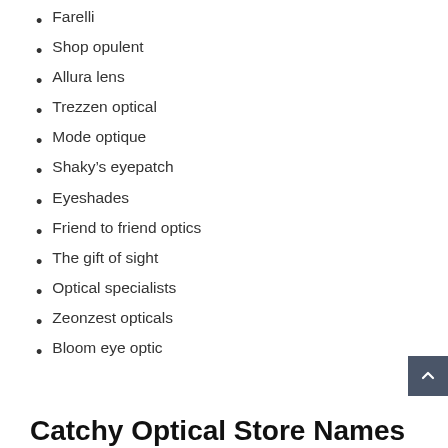Farelli
Shop opulent
Allura lens
Trezzen optical
Mode optique
Shaky’s eyepatch
Eyeshades
Friend to friend optics
The gift of sight
Optical specialists
Zeonzest opticals
Bloom eye optic
Catchy Optical Store Names